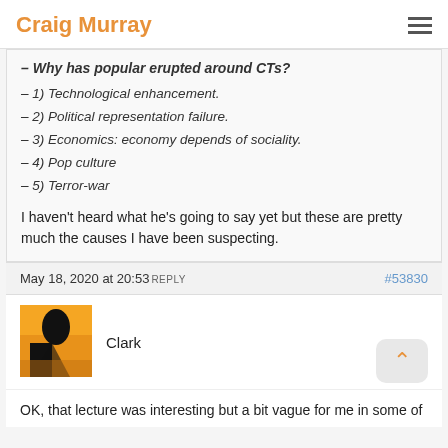Craig Murray
– Why has popular erupted around CTs?
– 1) Technological enhancement.
– 2) Political representation failure.
– 3) Economics: economy depends of sociality.
– 4) Pop culture
– 5) Terror-war
I haven't heard what he's going to say yet but these are pretty much the causes I have been suspecting.
May 18, 2020 at 20:53  REPLY   #53830
Clark
OK, that lecture was interesting but a bit vague for me in some of